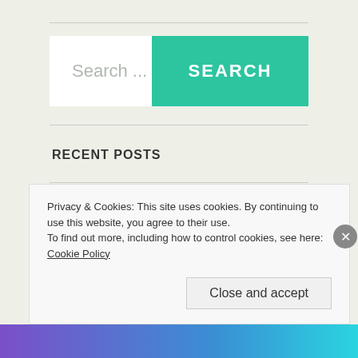[Figure (screenshot): Search bar with placeholder text 'Search ...' and a teal SEARCH button]
RECENT POSTS
A Christmas Prayer for You
Advent Suggestions for Discerners
Privacy & Cookies: This site uses cookies. By continuing to use this website, you agree to their use.
To find out more, including how to control cookies, see here: Cookie Policy
Close and accept